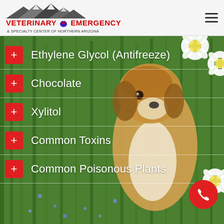[Figure (logo): Veterinary Emergency & Specialty Center of Northern Arizona logo with mountain silhouette and red paw print]
Ethylene Glycol (Antifreeze)
Chocolate
Xylitol
Common Toxins
Common Poisonous Plants